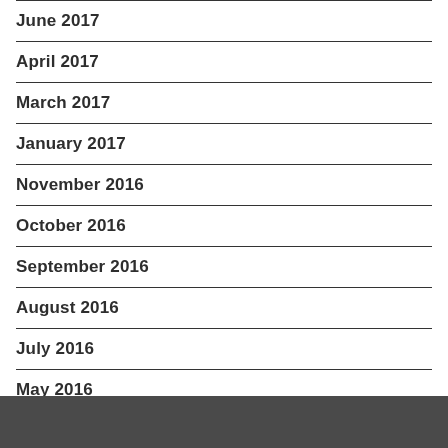June 2017
April 2017
March 2017
January 2017
November 2016
October 2016
September 2016
August 2016
July 2016
May 2016